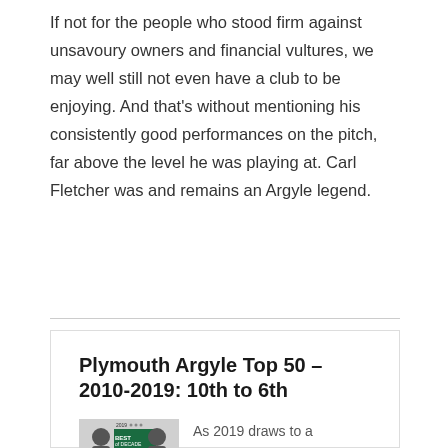If not for the people who stood firm against unsavoury owners and financial vultures, we may well still not even have a club to be enjoying. And that’s without mentioning his consistently good performances on the pitch, far above the level he was playing at. Carl Fletcher was and remains an Argyle legend.
Plymouth Argyle Top 50 – 2010-2019: 10th to 6th
As 2019 draws to a